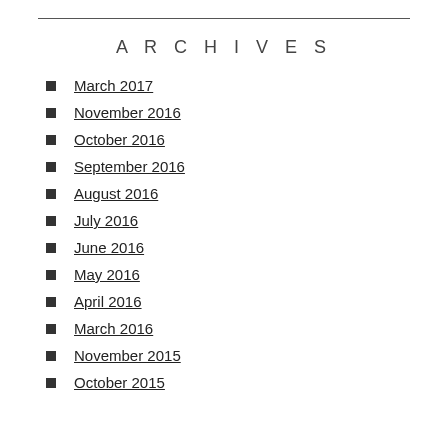ARCHIVES
March 2017
November 2016
October 2016
September 2016
August 2016
July 2016
June 2016
May 2016
April 2016
March 2016
November 2015
October 2015